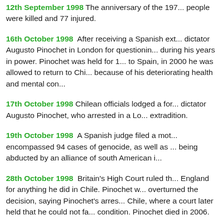12th September 1998 The anniversary of the 197... people were killed and 77 injured.
16th October 1998 After receiving a Spanish ext... dictator Augusto Pinochet in London for questionin... during his years in power. Pinochet was held for 1... to Spain, in 2000 he was allowed to return to Chi... because of his deteriorating health and mental con...
17th October 1998 Chilean officials lodged a for... dictator Augusto Pinochet, who arrested in a Lo... extradition.
19th October 1998 A Spanish judge filed a mot... encompassed 94 cases of genocide, as well as ... being abducted by an alliance of south American i...
28th October 1998 Britain's High Court ruled th... England for anything he did in Chile. Pinochet w... overturned the decision, saying Pinochet's arres... Chile, where a court later held that he could not fa... condition. Pinochet died in 2006.